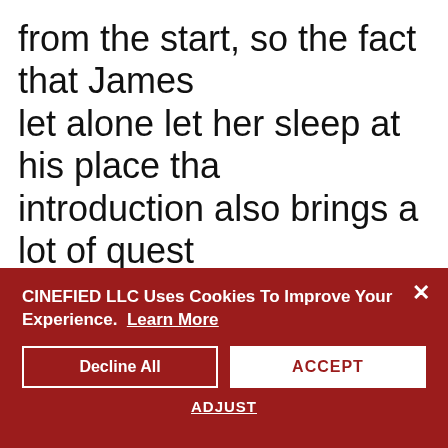from the start, so the fact that James let alone let her sleep at his place that introduction also brings a lot of quest investigation? Why does she disappea restless after her first appearance and point in order to keep the intensity up by the time the credits roll.
VISUAL EFFECTS | MAKEUP | DE
CINEFIED LLC Uses Cookies To Improve Your Experience. Learn More
Decline All
ACCEPT
ADJUST